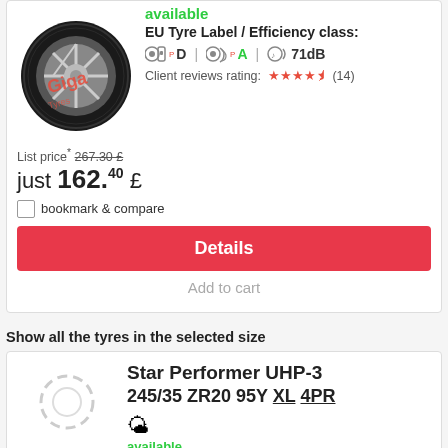available
EU Tyre Label / Efficiency class: D | A | 71dB
Client reviews rating: ★★★★½ (14)
List price* 267.30 £
just 162.40 £
bookmark & compare
Details
Add to cart
Show all the tyres in the selected size
Star Performer UHP-3
245/35 ZR20 95Y XL 4PR
available